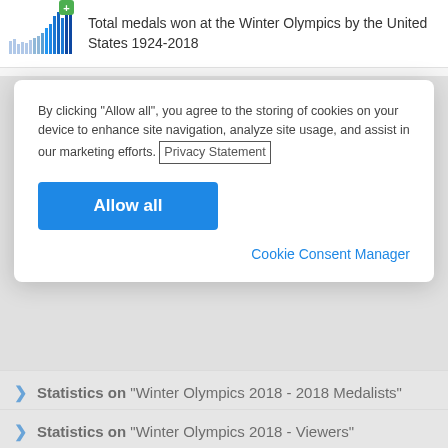[Figure (bar-chart): Small thumbnail bar chart showing total medals won at the Winter Olympics by the United States 1924-2018, with a green plus badge.]
Total medals won at the Winter Olympics by the United States 1924-2018
By clicking “Allow all”, you agree to the storing of cookies on your device to enhance site navigation, analyze site usage, and assist in our marketing efforts. Privacy Statement
Allow all
Cookie Consent Manager
Statistics on “Winter Olympics 2018 - 2018 Medalists”
Statistics on “Winter Olympics 2018 - Viewers”
Statistics on “Winter Olympics 2018 - History of the Winter Olympics”